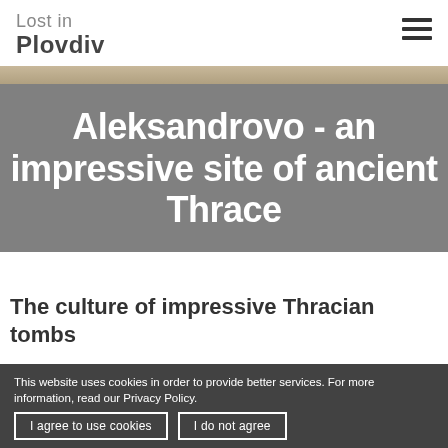Lost in Plovdiv
Aleksandrovo - an impressive site of ancient Thrace
The culture of an impressive Thracian tombs
This website uses cookies in order to provide better services. For more information, read our Privacy Policy. | I agree to use cookies | I do not agree